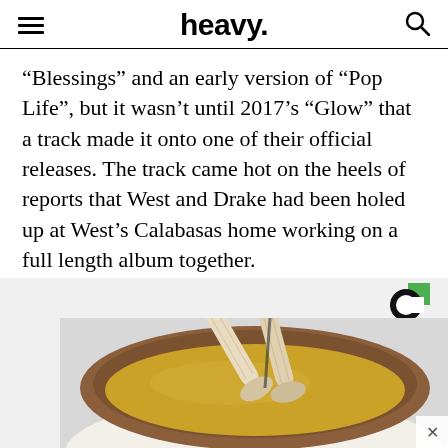heavy.
“Blessings” and an early version of “Pop Life”, but it wasn’t until 2017’s “Glow” that a track made it onto one of their official releases. The track came hot on the heels of reports that West and Drake had been holed up at West’s Calabasas home working on a full length album together.
[Figure (illustration): Illustration of a wooden spoon stirring a golden/yellow mixture in a brown ceramic bowl, shown from above. Below the bowl is a white oval plate or surface. An advertisement logo (circular 'C' shape in black and green) appears in the upper right of the ad area. A close button (x) is visible in the lower right corner.]